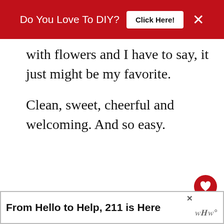[Figure (screenshot): Red advertisement banner at top: 'Do You Love To DIY?' with 'Click Here!' button and close X]
with flowers and I have to say, it just might be my favorite.

Clean, sweet, cheerful and welcoming. And so easy.
[Figure (photo): Photo of a door handle/lock with a yellow ribbon or bag hanging on it]
[Figure (screenshot): What's Next overlay showing Christmas Home Decor...]
[Figure (screenshot): Bottom advertisement banner: 'From Hello to Help, 211 is Here']